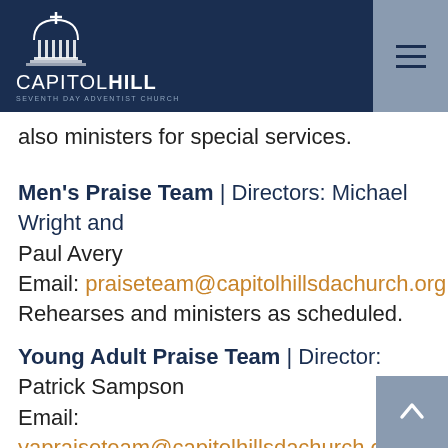Capitol Hill Seventh-day Adventist Church
also ministers for special services.
Men's Praise Team | Directors: Michael Wright and Paul Avery
Email: praiseteam@capitolhillsdachurch.org
Rehearsed and ministers as scheduled.
Young Adult Praise Team | Director: Patrick Sampson
Email: yapraiseteam@capitolhillsdachurch.o
Rehearsoes 2nd and 3rd Sabbaths at 3:30